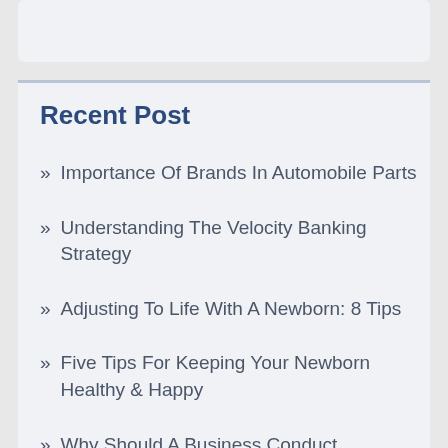Recent Post
Importance Of Brands In Automobile Parts
Understanding The Velocity Banking Strategy
Adjusting To Life With A Newborn: 8 Tips
Five Tips For Keeping Your Newborn Healthy & Happy
Why Should A Business Conduct